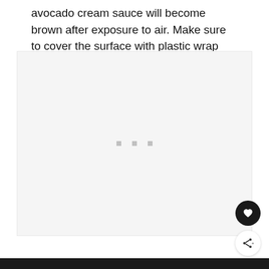avocado cream sauce will become brown after exposure to air. Make sure to cover the surface with plastic wrap when storing.
[Figure (other): Image loading placeholder with three gray dots centered in a light gray rectangular area]